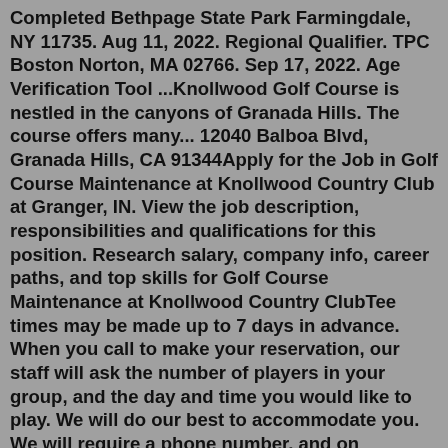Completed Bethpage State Park Farmingdale, NY 11735. Aug 11, 2022. Regional Qualifier. TPC Boston Norton, MA 02766. Sep 17, 2022. Age Verification Tool ...Knollwood Golf Course is nestled in the canyons of Granada Hills. The course offers many... 12040 Balboa Blvd, Granada Hills, CA 91344Apply for the Job in Golf Course Maintenance at Knollwood Country Club at Granger, IN. View the job description, responsibilities and qualifications for this position. Research salary, company info, career paths, and top skills for Golf Course Maintenance at Knollwood Country ClubTee times may be made up to 7 days in advance. When you call to make your reservation, our staff will ask the number of players in your group, and the day and time you would like to play. We will do our best to accommodate you. We will require a phone number, and on weekends, a credit card number to reserve the time.Aug 08, 2022 · General: (818) 363-8161Hours. This Regulation 18-hole course features rolling terrain and large trees. The course meanders through a quiet residential...